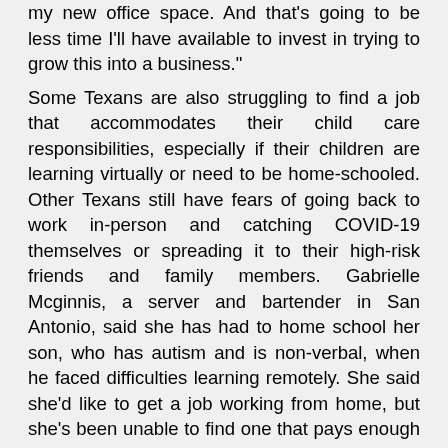my new office space. And that's going to be less time I'll have available to invest in trying to grow this into a business." Some Texans are also struggling to find a job that accommodates their child care responsibilities, especially if their children are learning virtually or need to be home-schooled. Other Texans still have fears of going back to work in-person and catching COVID-19 themselves or spreading it to their high-risk friends and family members. Gabrielle Mcginnis, a server and bartender in San Antonio, said she has had to home school her son, who has autism and is non-verbal, when he faced difficulties learning remotely. She said she'd like to get a job working from home, but she's been unable to find one that pays enough to cover her bills and works with her son's schedule. "I'm definitely getting less on unemployment compared to when I was working. I've had to cut back a lot and just make do with what we got. We're not starving, but our